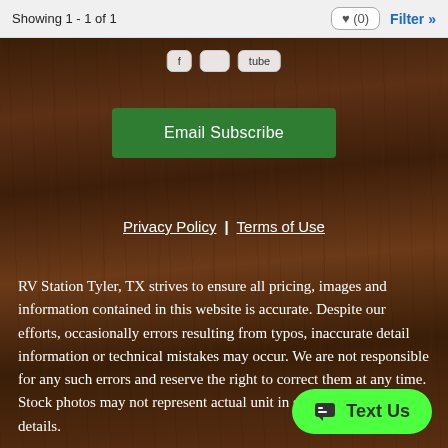Showing 1 - 1 of 1
[Figure (screenshot): Wood-textured dark background section with social media share buttons, Email Subscribe button, Privacy Policy and Terms of Use links, and disclaimer text]
Email Subscribe
Privacy Policy | Terms of Use
RV Station Tyler, TX strives to ensure all pricing, images and information contained in this website is accurate. Despite our efforts, occasionally errors resulting from typos, inaccurate detail information or technical mistakes may occur. We are not responsible for any such errors and reserve the right to correct them at any time. Stock photos may not represent actual unit in stock. See dealer for details.